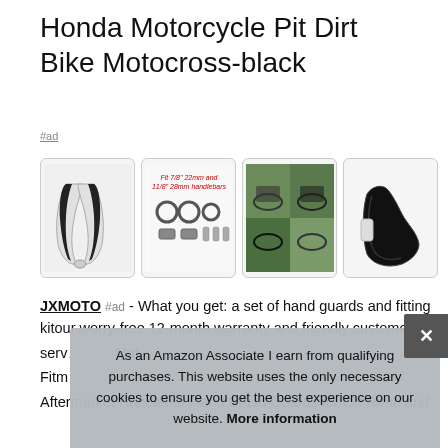Honda Motorcycle Pit Dirt Bike Motocross-black
#ad
[Figure (photo): Four product images: (1) black and white hand guards pair, (2) fitting kit hardware with text 'Fit 7/8" 22mm and 11/8" 28mm handlebars', (3) motorcycles in outdoor setting, (4) single black hand guard side view]
JXMOTO #ad - What you get: a set of hand guards and fitting kitour worry-free 12-month warranty and friendly customer service Mat Fitm Aftermarket Handlebar Hand Brush Guards for Off Road and
As an Amazon Associate I earn from qualifying purchases. This website uses the only necessary cookies to ensure you get the best experience on our website. More information